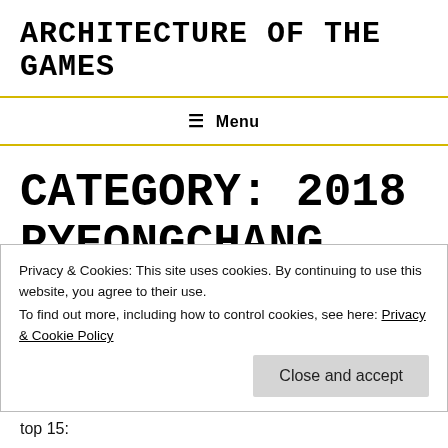ARCHITECTURE OF THE GAMES
☰ Menu
CATEGORY: 2018 PYEONGCHANG
DECEMBER 31, 2018
PYEONGCHANG 2018:
Privacy & Cookies: This site uses cookies. By continuing to use this website, you agree to their use.
To find out more, including how to control cookies, see here: Privacy & Cookie Policy
Close and accept
top 15: